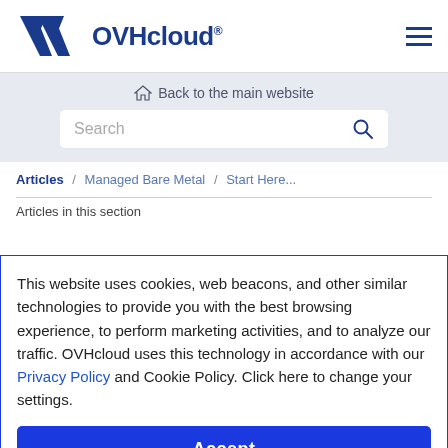[Figure (logo): OVHcloud logo with blue stylized V and lightning bolt icon followed by OVHcloud text in dark blue]
Back to the main website
Search
Articles / Managed Bare Metal / Start Here...
Articles in this section
This website uses cookies, web beacons, and other similar technologies to provide you with the best browsing experience, to perform marketing activities, and to analyze our traffic. OVHcloud uses this technology in accordance with our Privacy Policy and Cookie Policy. Click here to change your settings.
Accept